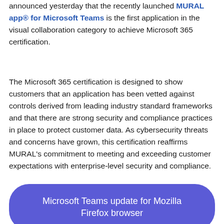announced yesterday that the recently launched MURAL app® for Microsoft Teams is the first application in the visual collaboration category to achieve Microsoft 365 certification.
The Microsoft 365 certification is designed to show customers that an application has been vetted against controls derived from leading industry standard frameworks and that there are strong security and compliance practices in place to protect customer data. As cybersecurity threats and concerns have grown, this certification reaffirms MURAL's commitment to meeting and exceeding customer expectations with enterprise-level security and compliance.
Microsoft Teams update for Mozilla Firefox browser